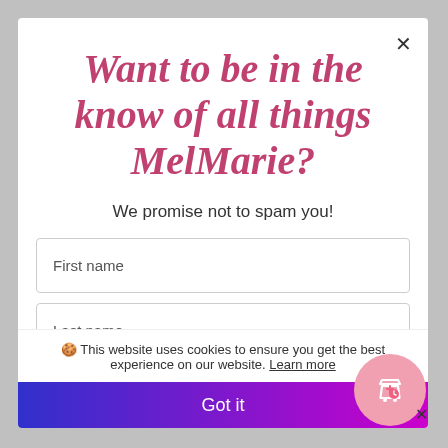Want to be in the know of all things MelMarie?
We promise not to spam you!
First name
Last name
🍪 This website uses cookies to ensure you get the best experience on our website. Learn more
Got it